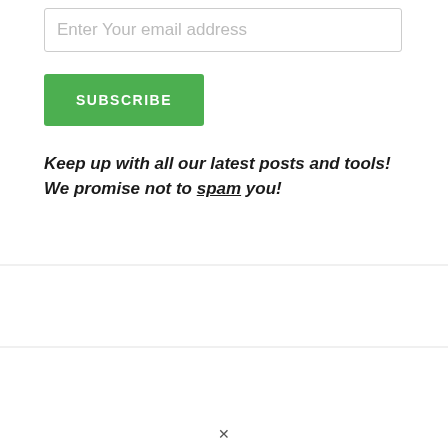Enter Your email address
SUBSCRIBE
Keep up with all our latest posts and tools! We promise not to spam you!